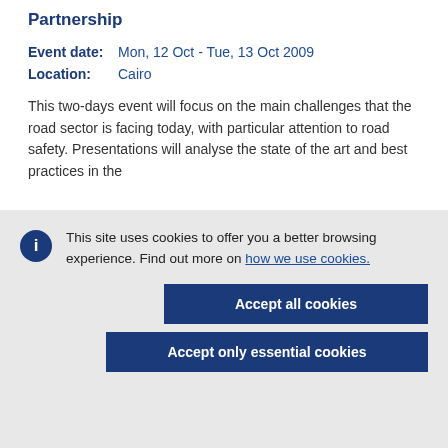Partnership
Event date:   Mon, 12 Oct - Tue, 13 Oct 2009
Location:   Cairo
This two-days event will focus on the main challenges that the road sector is facing today, with particular attention to road safety. Presentations will analyse the state of the art and best practices in the
This site uses cookies to offer you a better browsing experience. Find out more on how we use cookies.
Accept all cookies
Accept only essential cookies